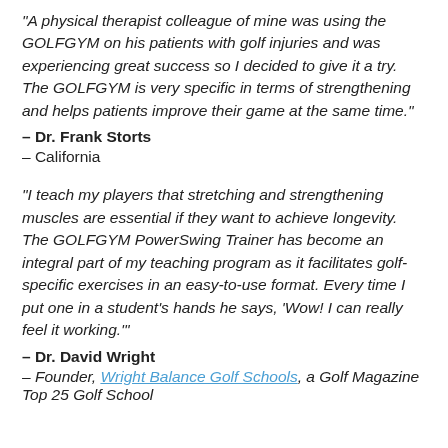“A physical therapist colleague of mine was using the GOLFGYM on his patients with golf injuries and was experiencing great success so I decided to give it a try. The GOLFGYM is very specific in terms of strengthening and helps patients improve their game at the same time.”
– Dr. Frank Storts
– California
“I teach my players that stretching and strengthening muscles are essential if they want to achieve longevity. The GOLFGYM PowerSwing Trainer has become an integral part of my teaching program as it facilitates golf-specific exercises in an easy-to-use format. Every time I put one in a student’s hands he says, ‘Wow! I can really feel it working.’”
– Dr. David Wright
– Founder, Wright Balance Golf Schools, a Golf Magazine Top 25 Golf School